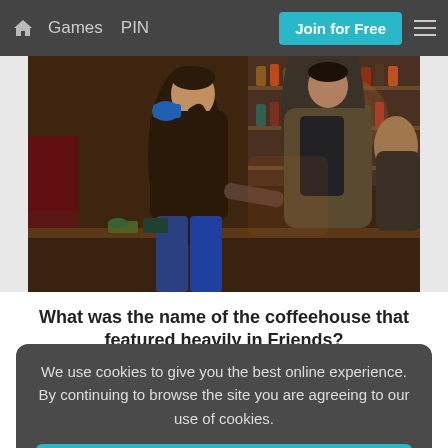Games  PIN  Join for Free  ☰
[Figure (photo): Two men inside a bar/coffeehouse setting. The man in the foreground wears a dark sweater and drinks from a blue mug, while another man in a brown jacket stands behind him. The background shows shelves with bottles and warm lighting, resembling the Central Perk or similar TV coffeehouse set.]
What was the name of the coffeehouse that featured heavily in Friends?
We use cookies to give you the best online experience. By continuing to browse the site you are agreeing to our use of cookies.
I Agree
Starbucks